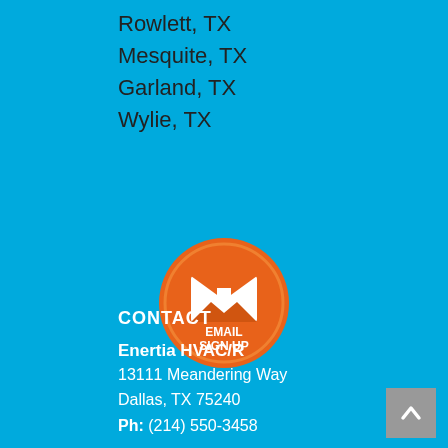Rowlett, TX
Mesquite, TX
Garland, TX
Wylie, TX
[Figure (illustration): Orange circle button with white envelope/email icon and text EMAIL SIGN UP]
CONTACT
Enertia HVAC/R
13111 Meandering Way
Dallas, TX 75240
Ph: (214) 550-3458